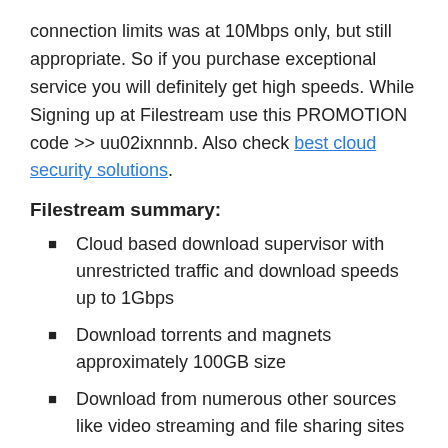connection limits was at 10Mbps only, but still appropriate. So if you purchase exceptional service you will definitely get high speeds. While Signing up at Filestream use this PROMOTION code >> uu02ixnnnb. Also check best cloud security solutions.
Filestream summary:
Cloud based download supervisor with unrestricted traffic and download speeds up to 1Gbps
Download torrents and magnets approximately 100GB size
Download from numerous other sources like video streaming and file sharing sites
Pick private files from torrent archives